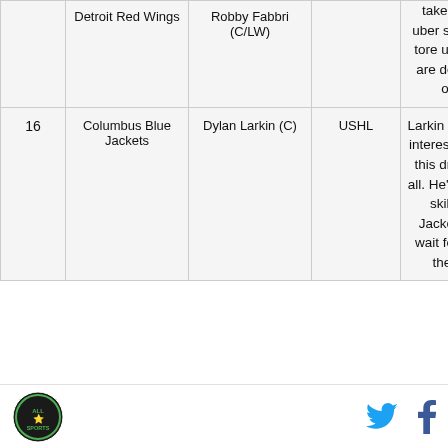| # | Team | Player | League | Notes |
| --- | --- | --- | --- | --- |
|  | Detroit Red Wings | Robby Fabbri (C/LW) |  | take the smaller but uber skilled player who tore up the OHL. They are delighted he's still on the board. |
| 16 | Columbus Blue Jackets | Dylan Larkin (C) | USHL | Larkin is one of the most interesting centermen in this draft and can do it all. He's got the size and skill and the Blue Jackets are willing to wait for him to play for the University of |
[logo] [twitter] [facebook]